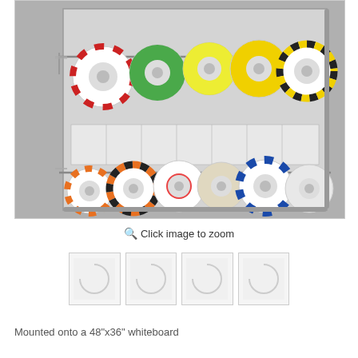[Figure (photo): A wall-mounted tape roll organizer/dispenser board with multiple colored tape rolls. Top row shows rolls of red/white, green, yellow/white, yellow, and black/yellow striped tape hanging on horizontal rods. Bottom row shows rolls of orange/white, orange/black, red/white, clear, blue/white, and white tape. The board has white label areas between the two rows.]
Click image to zoom
[Figure (photo): Thumbnail 1 - tape roll organizer]
[Figure (photo): Thumbnail 2 - tape roll organizer]
[Figure (photo): Thumbnail 3 - tape roll organizer]
[Figure (photo): Thumbnail 4 - tape roll organizer]
Mounted onto a 48"x36" whiteboard